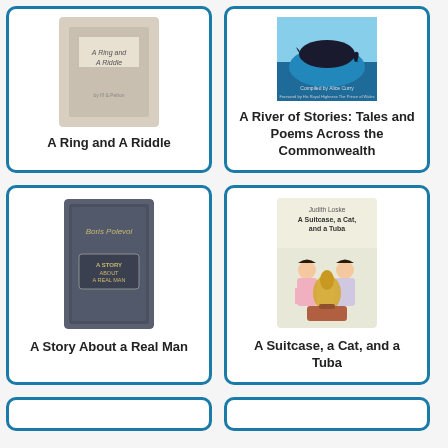[Figure (illustration): Book cover for 'A Ring and A Riddle' shown in a card with teal border]
A Ring and A Riddle
[Figure (illustration): Book cover for 'A River of Stories: Tales and Poems Across the Commonwealth' shown in a card with teal border, featuring a whale/ocean scene]
A River of Stories: Tales and Poems Across the Commonwealth
[Figure (illustration): Book cover for 'A Story About a Real Man' by Boris Polevoi, showing a dark blue hardcover book]
A Story About a Real Man
[Figure (illustration): Book cover for 'A Suitcase, a Cat, and a Tuba' by Judith Loske, showing two children with a large tuba]
A Suitcase, a Cat, and a Tuba